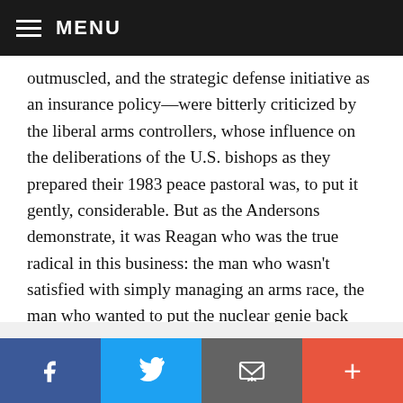MENU
outmuscled, and the strategic defense initiative as an insurance policy—were bitterly criticized by the liberal arms controllers, whose influence on the deliberations of the U.S. bishops as they prepared their 1983 peace pastoral was, to put it gently, considerable. But as the Andersons demonstrate, it was Reagan who was the true radical in this business: the man who wasn't satisfied with simply managing an arms race, the man who wanted to put the nuclear genie back into the bottle. Historians of U.S. Catholicism will thus be grateful to the Andersons for clarifying just how mistaken some of the policy
Facebook Twitter Email Plus